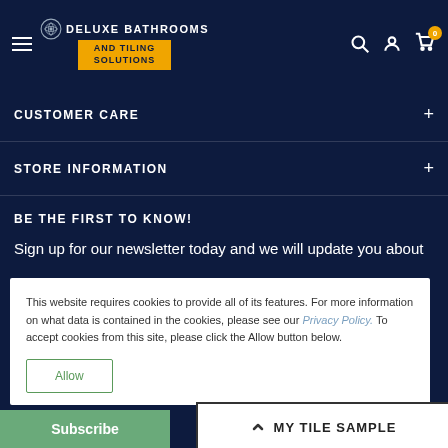[Figure (logo): Deluxe Bathrooms and Tiling Solutions logo with orange banner on dark navy background, hamburger menu icon on left, search, account and cart icons on right]
CUSTOMER CARE
STORE INFORMATION
BE THE FIRST TO KNOW!
Sign up for our newsletter today and we will update you about
This website requires cookies to provide all of its features. For more information on what data is contained in the cookies, please see our Privacy Policy. To accept cookies from this site, please click the Allow button below.
Allow
Subscribe
MY TILE SAMPLE